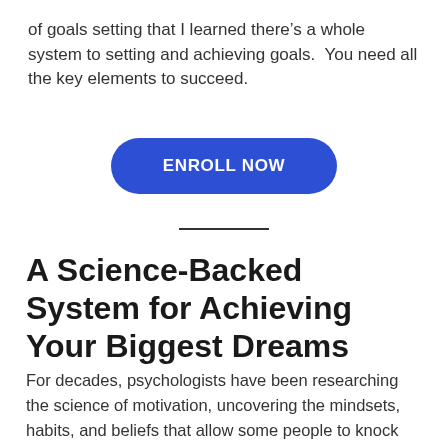of goals setting that I learned there's a whole system to setting and achieving goals.  You need all the key elements to succeed.
[Figure (other): Blue rounded rectangle button with white text reading ENROLL NOW]
—
A Science-Backed System for Achieving Your Biggest Dreams
For decades, psychologists have been researching the science of motivation, uncovering the mindsets, habits, and beliefs that allow some people to knock out big goal after big goal, while others stay stuck in place.